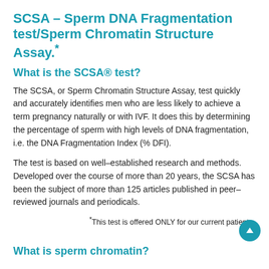SCSA – Sperm DNA Fragmentation test/Sperm Chromatin Structure Assay.*
What is the SCSA® test?
The SCSA, or Sperm Chromatin Structure Assay, test quickly and accurately identifies men who are less likely to achieve a term pregnancy naturally or with IVF. It does this by determining the percentage of sperm with high levels of DNA fragmentation, i.e. the DNA Fragmentation Index (% DFI).
The test is based on well-established research and methods. Developed over the course of more than 20 years, the SCSA has been the subject of more than 125 articles published in peer-reviewed journals and periodicals.
*This test is offered ONLY for our current patients.
What is sperm chromatin?